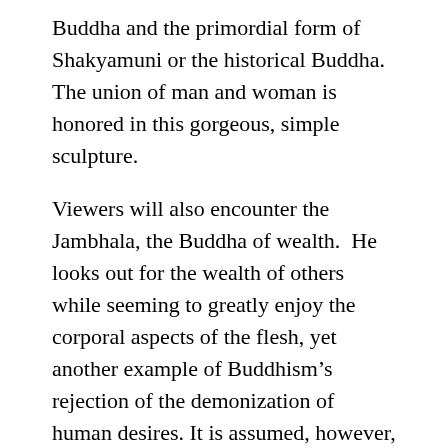Buddha and the primordial form of Shakyamuni or the historical Buddha. The union of man and woman is honored in this gorgeous, simple sculpture.
Viewers will also encounter the Jambhala, the Buddha of wealth.  He looks out for the wealth of others while seeming to greatly enjoy the corporal aspects of the flesh, yet another example of Buddhism's rejection of the demonization of human desires. It is assumed, however, that the embrace of the wealth and sexuality of the two in union will be used to inspire the attainment of the next level of existence, as each of these pieces is intended to do.